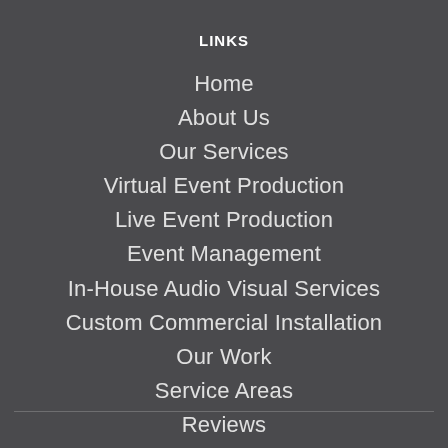LINKS
Home
About Us
Our Services
Virtual Event Production
Live Event Production
Event Management
In-House Audio Visual Services
Custom Commercial Installation
Our Work
Service Areas
Reviews
Blog
Contact Us